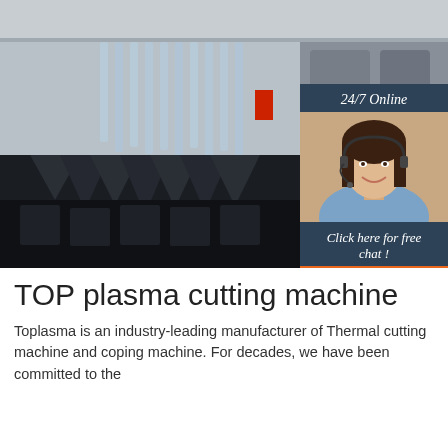[Figure (photo): Industrial plasma cutting machine in a factory setting, showing rows of black metal components on a conveyor/table. An overlay in the top-right shows a customer service representative with headset, dark blue background with '24/7 Online' text, 'Click here for free chat!' and an orange 'QUOTATION' button.]
TOP plasma cutting machine
Toplasma is an industry-leading manufacturer of Thermal cutting machine and coping machine. For decades, we have been committed to the